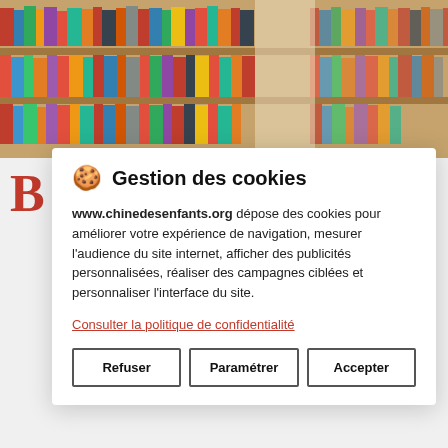[Figure (photo): Photograph of library bookshelves filled with colorful books, serving as a banner at the top of a webpage for chinedesenfants.org]
B
Gestion des cookies

www.chinedesenfants.org dépose des cookies pour améliorer votre expérience de navigation, mesurer l'audience du site internet, afficher des publicités personnalisées, réaliser des campagnes ciblées et personnaliser l'interface du site.

Consulter la politique de confidentialité

Refuser | Paramétrer | Accepter